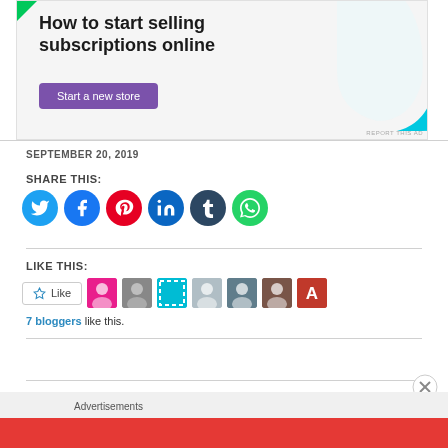[Figure (illustration): Advertisement banner: 'How to start selling subscriptions online' with purple 'Start a new store' button and cyan decorative blob on right]
SEPTEMBER 20, 2019
SHARE THIS:
[Figure (infographic): Row of social media share icon buttons: Twitter (blue), Facebook (blue), Pinterest (red), LinkedIn (teal), Tumblr (dark navy), WhatsApp (green)]
LIKE THIS:
[Figure (infographic): WordPress Like button with star icon followed by 7 blogger avatar thumbnails]
7 bloggers like this.
Advertisements